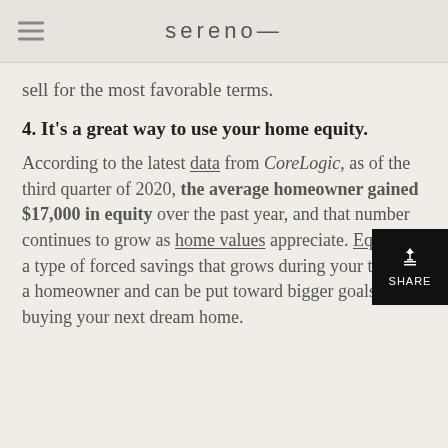sereno—
sell for the most favorable terms.
4. It's a great way to use your home equity.
According to the latest data from CoreLogic, as of the third quarter of 2020, the average homeowner gained $17,000 in equity over the past year, and that number continues to grow as home values appreciate. Equity is a type of forced savings that grows during your time as a homeowner and can be put toward bigger goals like buying your next dream home.